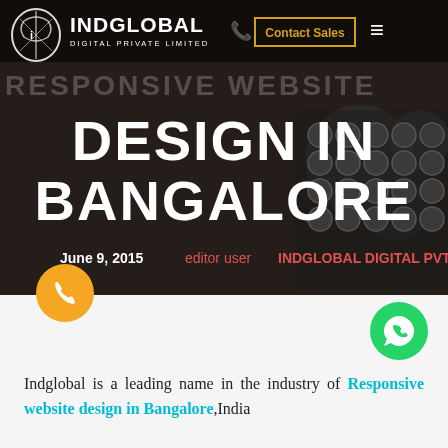[Figure (screenshot): Indglobal Digital Private Limited website hero banner showing responsive website design in Bangalore with dark typewriter background, navigation bar with logo and Contact Sales button]
INDGLOBAL DIGITAL PRIVATE LIMITED | Contact Sales
DESIGN IN BANGALORE
June 9, 2015   editor user   INDGLOBAL DIGITAL PVT LTD
Indglobal is a leading name in the industry of Responsive website design in Bangalore,India